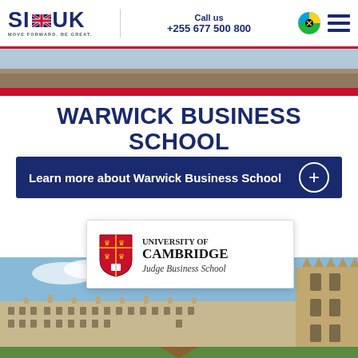SI-UK | Call us +255 677 500 800
[Figure (photo): Top hero image strip of university building, partially visible, with red bar at bottom and downward chevron]
WARWICK BUSINESS SCHOOL
Learn more about Warwick Business School
[Figure (logo): University of Cambridge Judge Business School logo with shield crest]
[Figure (photo): Photo of Cambridge university buildings against blue sky, with gothic chapel tower on right]